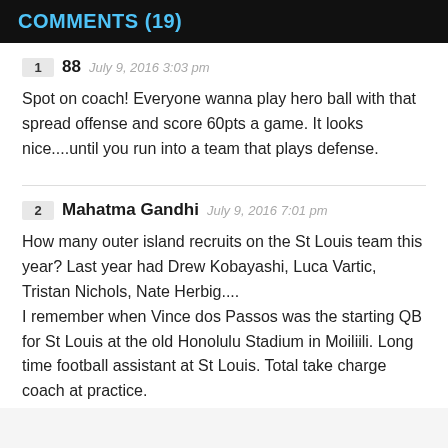COMMENTS (19)
1  88  July 9, 2016 3:03 pm

Spot on coach! Everyone wanna play hero ball with that spread offense and score 60pts a game. It looks nice....until you run into a team that plays defense.
2  Mahatma Gandhi  July 9, 2016 7:01 pm

How many outer island recruits on the St Louis team this year? Last year had Drew Kobayashi, Luca Vartic, Tristan Nichols, Nate Herbig....
I remember when Vince dos Passos was the starting QB for St Louis at the old Honolulu Stadium in Moiliili. Long time football assistant at St Louis. Total take charge coach at practice.